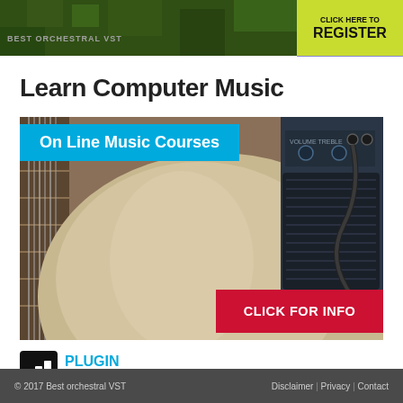[Figure (screenshot): Top banner with green pixelated background, text BEST ORCHESTRAL VST on left, and CLICK HERE TO REGISTER button on right with yellow-green background]
Learn Computer Music
[Figure (photo): Photo of an electric guitar body and neck leaning against a vintage amplifier with cables plugged in, overlaid with blue banner reading On Line Music Courses and red CLICK FOR INFO button]
[Figure (logo): Plugin Boutique logo: black square icon with music note, followed by PLUGIN BOUTIQUE.COM text in blue, black and gray]
© 2017 Best orchestral VST    Disclaimer | Privacy | Contact